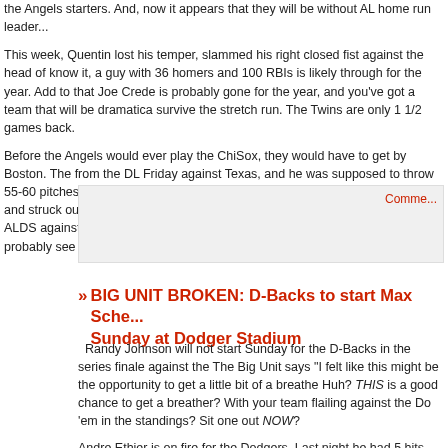the Angels starters. And, now it appears that they will be without AL home run leader...
This week, Quentin lost his temper, slammed his right closed fist against the head of... know it, a guy with 36 homers and 100 RBIs is likely through for the year. Add to that... Joe Crede is probably gone for the year, and you've got a team that will be dramatically... survive the stretch run. The Twins are only 1 1/2 games back.
Before the Angels would ever play the ChiSox, they would have to get by Boston. The... from the DL Friday against Texas, and he was supposed to throw 55-60 pitches again... threw 80 pitches, went 5 innings, allowed 4 hits (all singles) and struck out 7 for his 1... a complete game shutout in game 1 of last year's ALDS against the Angels, and he's... his postseason career. The Halos will probably see him twice in the first round.
Comme...
BIG UNIT BROKEN: D-Backs to start Max Sche... Sunday at Dodger Stadium
Randy Johnson will not start Sunday for the D-Backs in the series finale against the... The Big Unit says "I felt like this might be the opportunity to get a little bit of a breather... Huh? THIS is a good chance to get a breather? With your team flailing against the Do... 'em in the standings? Sit one out NOW?
Andre Ethier is on fire for the Dodgers. Last night he had 5 hits and was a triple shy o... steam-rolled Arizona 7-0. Derek Lowe was deadly, allowing just 2 hits, and Chan Ho... with 2 K's. It could be another great day for Ethier today against Brandon Webb. The... 18 with 4 doubles and a homer against Webb, who is taking his third crack at his 20th...
Clayton Kershaw vs. Max Scherzer is a fascinating pitching matchup. They are both n... stuff. These 2 pitchers could be battling for the Cy Young Award in 2010. For now, the... fate of the NL West. (That picture is not Randy Johnson telling Max Scherzer that he's... tomorrow.)